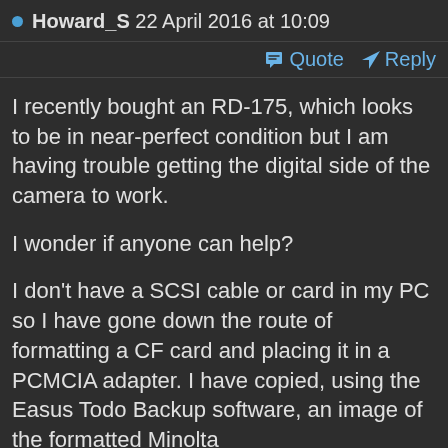Howard_S 22 April 2016 at 10:09
Quote  Reply
I recently bought an RD-175, which looks to be in near-perfect condition but I am having trouble getting the digital side of the camera to work.
I wonder if anyone can help?
I don't have a SCSI cable or card in my PC so I have gone down the route of formatting a CF card and placing it in a PCMCIA adapter. I have copied, using the Easus Todo Backup software, an image of the formatted Minolta